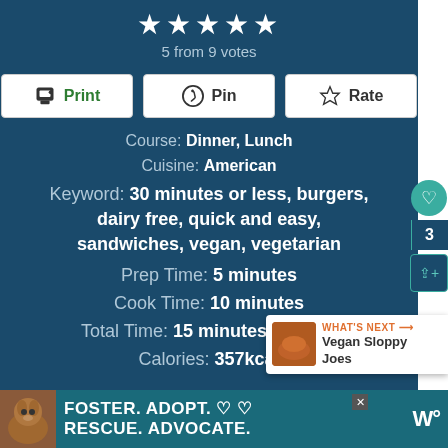★★★★★ 5 from 9 votes
[Figure (infographic): Print, Pin, Rate buttons row]
Course: Dinner, Lunch
Cuisine: American
Keyword: 30 minutes or less, burgers, dairy free, quick and easy, sandwiches, vegan, vegetarian
Prep Time: 5 minutes
Cook Time: 10 minutes
Total Time: 15 minutes   Servings: [partially visible]
Calories: 357kcal
[Figure (infographic): Ad banner: FOSTER. ADOPT. RESCUE. ADVOCATE. with dog photo]